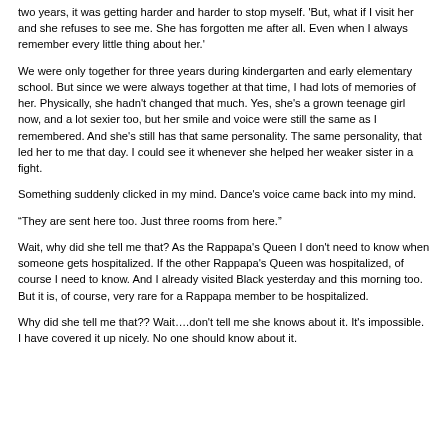two years, it was getting harder and harder to stop myself. 'But, what if I visit her and she refuses to see me. She has forgotten me after all. Even when I always remember every little thing about her.'
We were only together for three years during kindergarten and early elementary school. But since we were always together at that time, I had lots of memories of her. Physically, she hadn't changed that much. Yes, she's a grown teenage girl now, and a lot sexier too, but her smile and voice were still the same as I remembered. And she's still has that same personality. The same personality, that led her to me that day. I could see it whenever she helped her weaker sister in a fight.
Something suddenly clicked in my mind. Dance's voice came back into my mind.
“They are sent here too. Just three rooms from here.”
Wait, why did she tell me that? As the Rappapa's Queen I don't need to know when someone gets hospitalized. If the other Rappapa's Queen was hospitalized, of course I need to know. And I already visited Black yesterday and this morning too. But it is, of course, very rare for a Rappapa member to be hospitalized.
Why did she tell me that?? Wait….don't tell me she knows about it. It's impossible. I have covered it up nicely. No one should know about it.